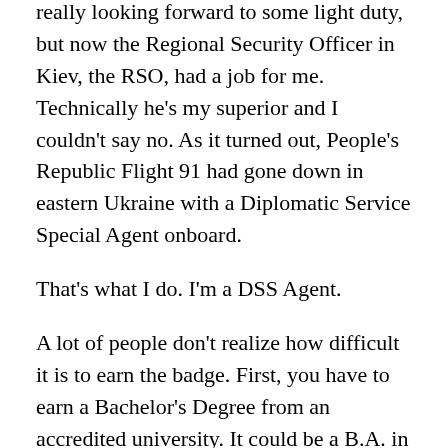really looking forward to some light duty, but now the Regional Security Officer in Kiev, the RSO, had a job for me. Technically he's my superior and I couldn't say no. As it turned out, People's Republic Flight 91 had gone down in eastern Ukraine with a Diplomatic Service Special Agent onboard.
That's what I do. I'm a DSS Agent.
A lot of people don't realize how difficult it is to earn the badge. First, you have to earn a Bachelor's Degree from an accredited university. It could be a B.A. in Underwater Basket-weaving for all they care, but you have to prove you graduated. After that you have to pass a physical, obtain a Top Secret Security Clearance, a medical clearance, and then be determined to be capable, stable, resourceful, trustworthy, and able to assume responsibility by a Suitability Review Board...